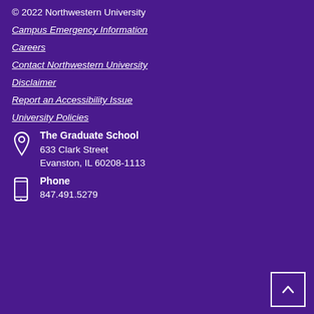© 2022 Northwestern University
Campus Emergency Information
Careers
Contact Northwestern University
Disclaimer
Report an Accessibility Issue
University Policies
The Graduate School
633 Clark Street
Evanston, IL 60208-1113
Phone
847.491.5279